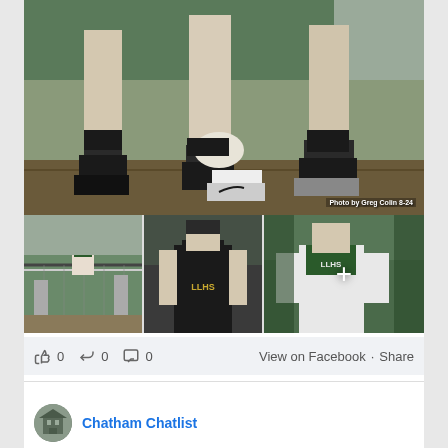[Figure (photo): Volleyball players' legs and lower bodies on an indoor court, wearing black shorts and knee pads. Photo credit: Photo by Greg Colin 8-24]
[Figure (photo): Three smaller volleyball photos: (1) player jumping at net, (2) player in black jersey in ready position, (3) player in green/white jersey crouching with a + overlay indicating more photos]
0  0  0
View on Facebook · Share
Chatham Chatlist